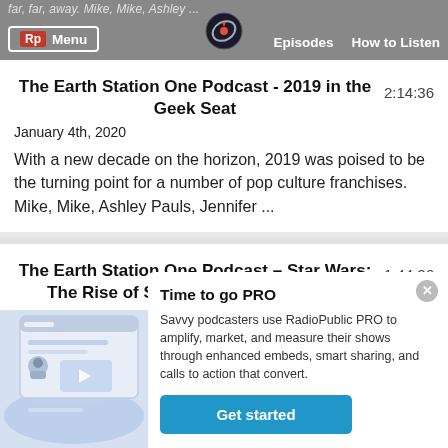far, far, away. Mike, Mike, Ashley ...
The Earth Station One Podcast - 2019 in the Geek Seat
2:14:36
January 4th, 2020
With a new decade on the horizon, 2019 was poised to be the turning point for a number of pop culture franchises. Mike, Mike, Ashley Pauls, Jennifer ...
The Earth Station One Podcast – Star Wars: The Rise of Skywalker Movie Review
1:44:26
Time to go PRO
Savvy podcasters use RadioPublic PRO to amplify, market, and measure their shows through enhanced embeds, smart sharing, and calls to action that convert.
Get started